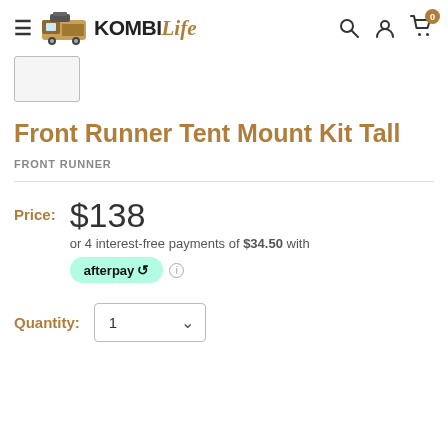KombiLife — navigation header with search, account, and cart icons
[Figure (screenshot): Thumbnail image placeholder box for product]
Front Runner Tent Mount Kit Tall
FRONT RUNNER
Price: $138
or 4 interest-free payments of $34.50 with afterpay
Quantity: 1